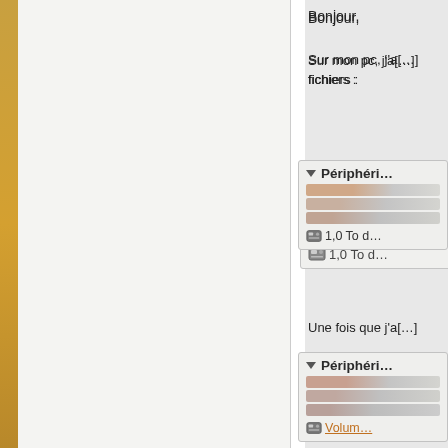[Figure (screenshot): Left side: golden sidebar and white/light-grey panel. Right side: forum post content with text and file manager screenshots showing peripheral devices with blurred entries and disk icons.]
Bonjour,
Sur mon pc, j'a[...] fichiers :
[Figure (screenshot): File manager panel showing 'Périphéri...' header with triangle, blurred file rows, and '1,0 To d...' disk entry with disk icon.]
Une fois que j'a[...]
[Figure (screenshot): File manager panel showing 'Périphéri...' header with triangle, blurred file rows, and 'Volume...' disk entry with disk icon and underline link.]
Je clique sur la[...] je peux le remo[...]
Or depuis quel[...]